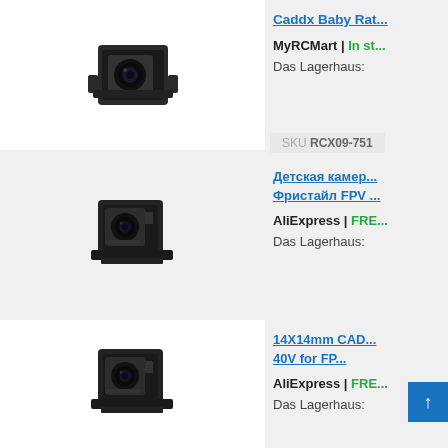[Figure (photo): Caddx Baby Rat FPV camera product image - small black FPV camera]
Caddx Baby Rat...
MyRCMart | In s...
Das Lagerhaus:
SKU RCX09-751
[Figure (photo): Детская камера Фристайл FPV product image - small black FPV camera]
Детская камера... Фристайл FPV ...
AliExpress | FRE...
Das Lagerhaus:
[Figure (photo): 14X14mm CAD... 40V for FP... product image - small black FPV camera]
14X14mm CAD... 40V for FP...
AliExpress | FRE...
Das Lagerhaus: